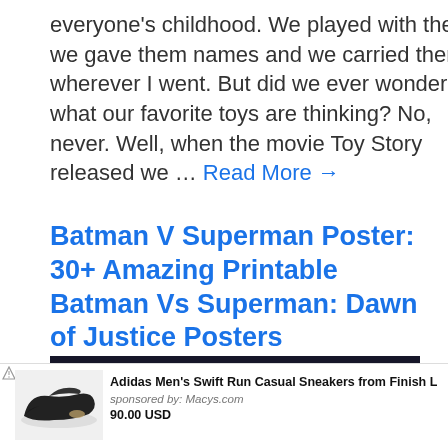everyone's childhood. We played with them, we gave them names and we carried them wherever I went. But did we ever wonder what our favorite toys are thinking? No, never. Well, when the movie Toy Story released we … Read More →
Batman V Superman Poster: 30+ Amazing Printable Batman Vs Superman: Dawn of Justice Posters
[Figure (photo): Batman V Superman themed image with dark background and red graphic elements]
[Figure (photo): Adidas Men's Swift Run Casual Sneakers advertisement showing black sneakers. Sponsored by Macys.com. Price: 90.00 USD]